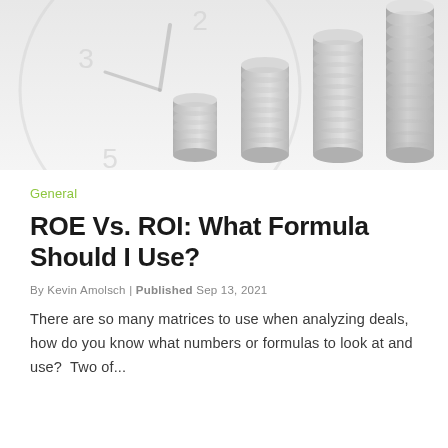[Figure (photo): Stacked silver coins in increasing height order against a blurred clock background, suggesting time value of money or financial growth.]
General
ROE Vs. ROI: What Formula Should I Use?
By Kevin Amolsch | Published Sep 13, 2021
There are so many matrices to use when analyzing deals, how do you know what numbers or formulas to look at and use?  Two of...